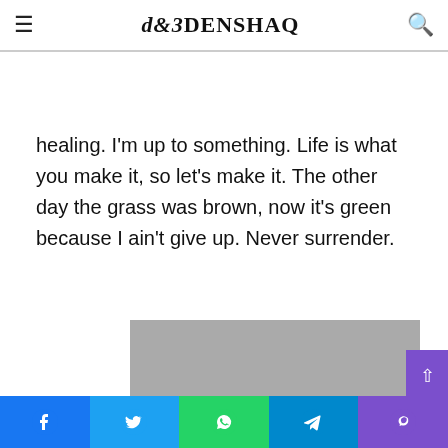DENSHAQ
healing. I'm up to something. Life is what you make it, so let's make it. The other day the grass was brown, now it's green because I ain't give up. Never surrender.
[Figure (photo): Gray placeholder image, 330 x 399 dimensions label]
Facebook, Twitter, WhatsApp, Telegram, Viber social share buttons